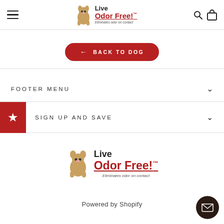Live Odor Free! — Eliminates odor on contact
← BACK TO DOG
FOOTER MENU
SIGN UP AND SAVE
[Figure (logo): Live Odor Free! logo with animal mascot and tagline: Eliminates odor on contact]
Powered by Shopify